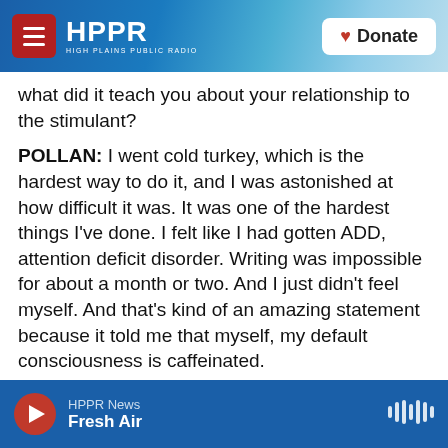HPPR — HIGH PLAINS PUBLIC RADIO | Donate
what did it teach you about your relationship to the stimulant?
POLLAN: I went cold turkey, which is the hardest way to do it, and I was astonished at how difficult it was. It was one of the hardest things I've done. I felt like I had gotten ADD, attention deficit disorder. Writing was impossible for about a month or two. And I just didn't feel myself. And that's kind of an amazing statement because it told me that myself, my default consciousness is caffeinated.
And it turns out after, you know, really digging into the history that, by and large, all of us in the West
HPPR News — Fresh Air